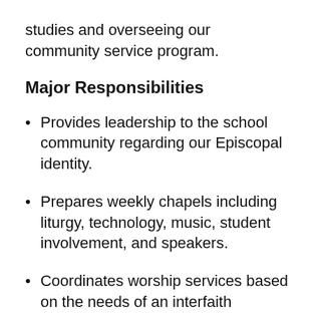studies and overseeing our community service program.
Major Responsibilities
Provides leadership to the school community regarding our Episcopal identity.
Prepares weekly chapels including liturgy, technology, music, student involvement, and speakers.
Coordinates worship services based on the needs of an interfaith